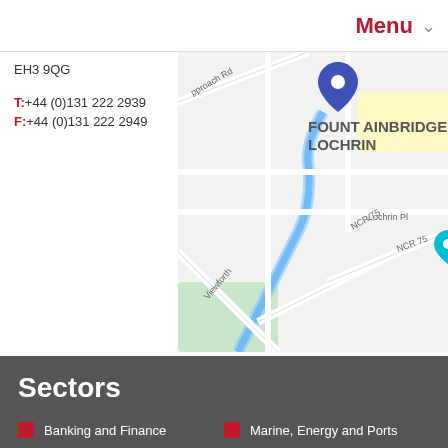Menu
EH3 9QG
T:+44 (0)131 222 2939
F:+44 (0)131 222 2949
[Figure (map): Google Maps view showing Fountainbridge Lochrin area in Edinburgh, with a blue map pin marker, canal waterway, and street labels including NCR 75 and Viewforth]
Hide Links
Sectors
Banking and Finance
Charities
Construction and Engineering
Education
Marine, Energy and Ports
Media & Entertainment
Healthcare
Regeneration